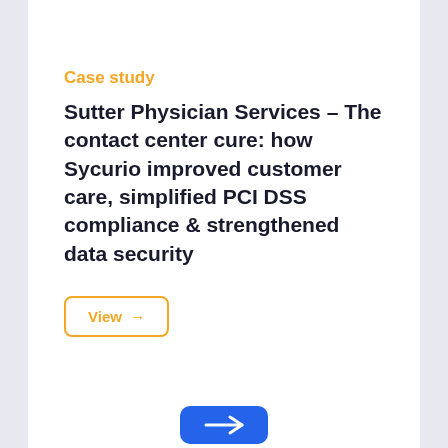Case study
Sutter Physician Services - The contact center cure: how Sycurio improved customer care, simplified PCI DSS compliance & strengthened data security
View →